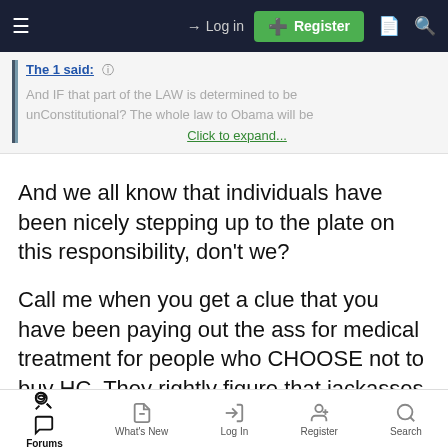Log in | Register
The 1 said: ℹ
And IF that part of the LAW is determined to be unConstitutional? The whole law to Obama will be
Click to expand...
And we all know that individuals have been nicely stepping up to the plate on this responsibility, don't we?
Call me when you get a clue that you have been paying out the ass for medical treatment for people who CHOOSE not to buy HC. They rightly figure that jackasses like you will gladly pay for it and even fight
Forums | What's New | Log In | Register | Search